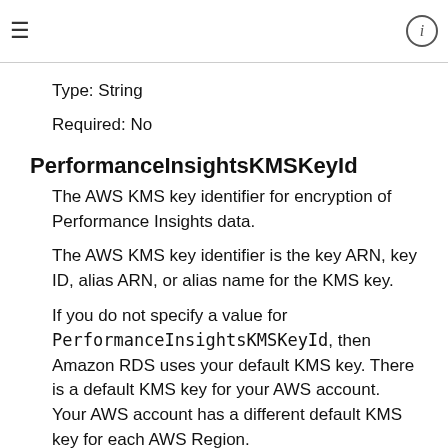≡   ℹ
Type: String
Required: No
PerformanceInsightsKMSKeyId
The AWS KMS key identifier for encryption of Performance Insights data.
The AWS KMS key identifier is the key ARN, key ID, alias ARN, or alias name for the KMS key.
If you do not specify a value for PerformanceInsightsKMSKeyId, then Amazon RDS uses your default KMS key. There is a default KMS key for your AWS account. Your AWS account has a different default KMS key for each AWS Region.